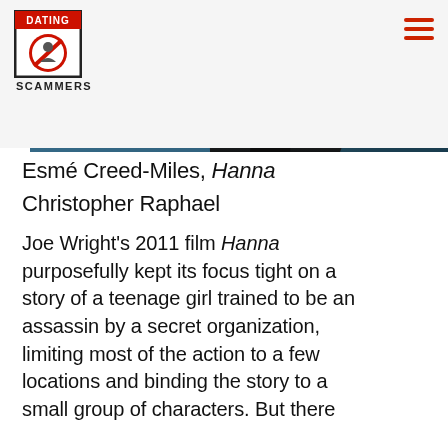Dating Scammers
[Figure (photo): Dramatic blue-lit cinematic still of a figure in a black coat, face partially visible, from the film Hanna]
Esmé Creed-Miles, Hanna
Christopher Raphael
Joe Wright's 2011 film Hanna purposefully kept its focus tight on a story of a teenage girl trained to be an assassin by a secret organization, limiting most of the action to a few locations and binding the story to a small group of characters. But there